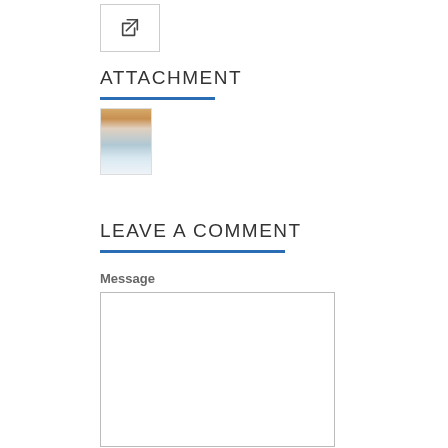[Figure (screenshot): Share/export button icon in a bordered box]
ATTACHMENT
[Figure (photo): Small thumbnail image of a document or photo, showing warm and cool tones]
LEAVE A COMMENT
Message
[Figure (other): Empty message text input box with border]